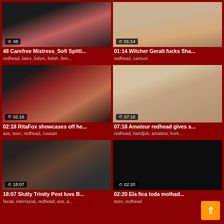[Figure (screenshot): Video thumbnail grid showing 6 adult video thumbnails with durations and tags on dark red background]
48 Carefree Mistress_Sofi Spitti...
redhead, latex, bdsm, fetish, fem...
01:14 Witcher Geralt fucks Sha...
redhead, cartoon
02:18 RitaFox showcases off he...
ass, teen, redhead, russian
07:18 Amateur redhead gives s...
redhead, handjob, amateur, hom...
18:07 Slutty Trinity Post luvs B...
facial, interracial, redhead, ass, a...
02:20 Ela fica toda molhad...
teen, redhead